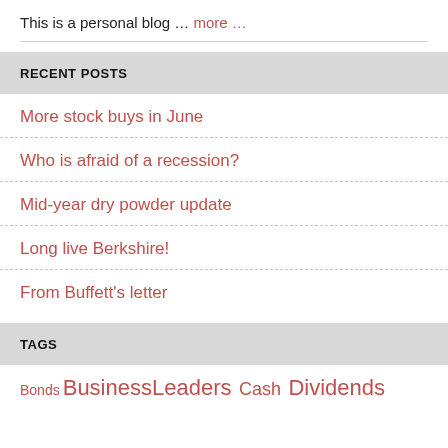This is a personal blog … more …
RECENT POSTS
More stock buys in June
Who is afraid of a recession?
Mid-year dry powder update
Long live Berkshire!
From Buffett's letter
TAGS
Bonds BusinessLeaders Cash Dividends